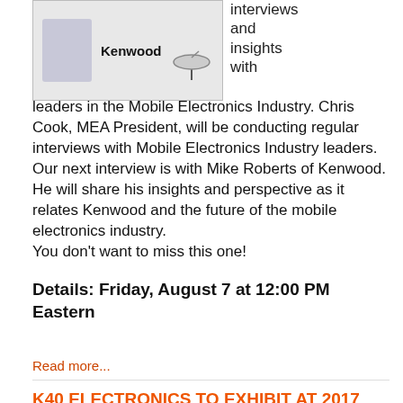[Figure (photo): Photo of person in plaid shirt next to Kenwood logo text and a microphone image]
interviews and insights with leaders in the Mobile Electronics Industry. Chris Cook, MEA President, will be conducting regular interviews with Mobile Electronics Industry leaders. Our next interview is with Mike Roberts of Kenwood. He will share his insights and perspective as it relates Kenwood and the future of the mobile electronics industry.
You don't want to miss this one!
Details: Friday, August 7 at 12:00 PM Eastern
[Click to Register]
Read more...
K40 ELECTRONICS TO EXHIBIT AT 2017 MOBILE ELECTRONICS EXPO & TRAINING
Mobile electronics